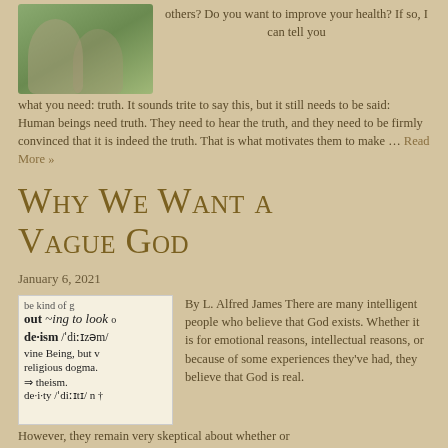[Figure (photo): Outdoor photo of two people on grass]
others? Do you want to improve your health? If so, I can tell you what you need: truth. It sounds trite to say this, but it still needs to be said: Human beings need truth. They need to hear the truth, and they need to be firmly convinced that it is indeed the truth. That is what motivates them to make … Read More »
Why We Want a Vague God
January 6, 2021
[Figure (photo): Dictionary entry showing 'de·ism' definition with phonetic spelling and related terms including 'theism' and 'deity']
By L. Alfred James There are many intelligent people who believe that God exists. Whether it is for emotional reasons, intellectual reasons, or because of some experiences they've had, they believe that God is real.
However, they remain very skeptical about whether or